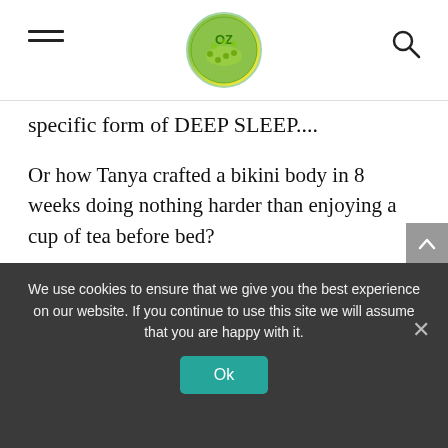OZ [logo]
specific form of DEEP SLEEP....
Or how Tanya crafted a bikini body in 8 weeks doing nothing harder than enjoying a cup of tea before bed?
Click here to get Eat Sleep Burn at discounted price while it’s still available...
We use cookies to ensure that we give you the best experience on our website. If you continue to use this site we will assume that you are happy with it.